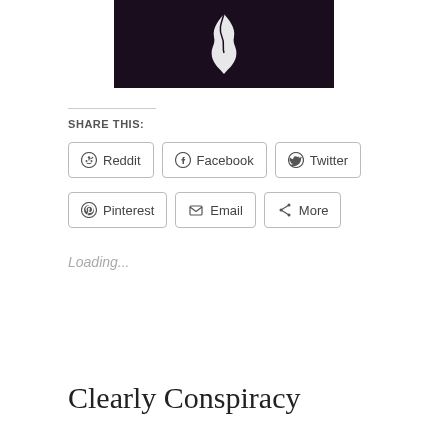[Figure (illustration): Dark background image with a white ghost/flame-like figure or logo in the center, partially cropped at top of page.]
SHARE THIS:
Reddit
Facebook
Twitter
Pinterest
Email
More
Loading...
Clearly Conspiracy